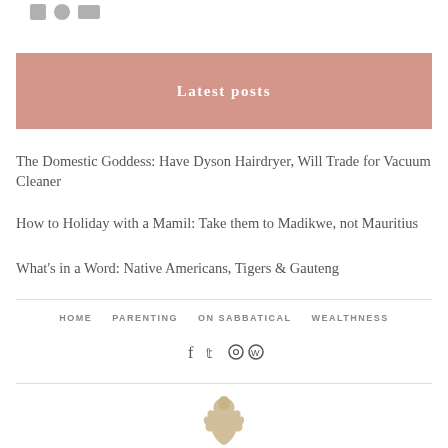Latest posts
The Domestic Goddess: Have Dyson Hairdryer, Will Trade for Vacuum Cleaner
How to Holiday with a Mamil: Take them to Madikwe, not Mauritius
What's in a Word: Native Americans, Tigers & Gauteng
HOME   PARENTING   ON SABBATICAL   WEALTHNESS
[Figure (logo): A small beige/tan decorative bird or figure silhouette at bottom center]